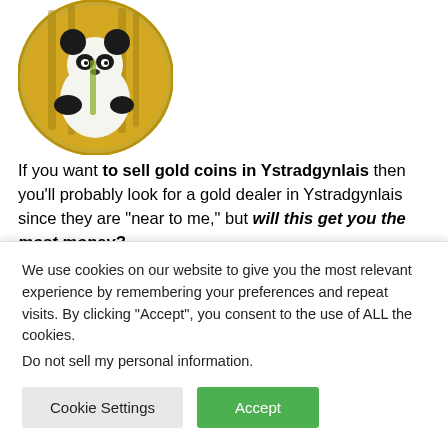[Figure (photo): Gold panda coin circular image showing a panda bear against bamboo background with gold coin border]
If you want to sell gold coins in Ystradgynlais then you'll probably look for a gold dealer in Ystradgynlais since they are “near to me,” but will this get you the most money?
The answer is almost certainly NO, you'll get much less money when you sell gold coins to a local Ystradgynlais
We use cookies on our website to give you the most relevant experience by remembering your preferences and repeat visits. By clicking “Accept”, you consent to the use of ALL the cookies.
Do not sell my personal information.